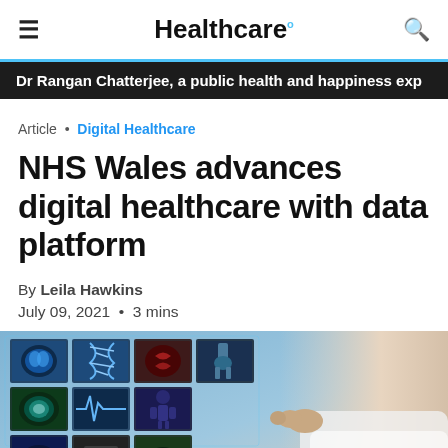Healthcare.
Dr Rangan Chatterjee, a public health and happiness exp
Article • Digital Healthcare
NHS Wales advances digital healthcare with data platform
By Leila Hawkins
July 09, 2021 • 3 mins
[Figure (photo): A medical professional interacting with a digital touchscreen display showing various medical imaging panels including brain scans, DNA models, and human anatomy diagrams in blue tones.]